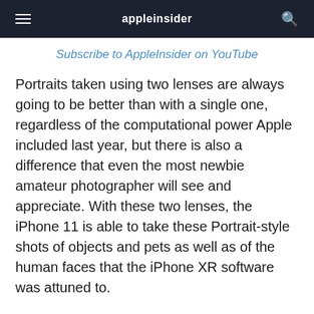appleinsider
Subscribe to AppleInsider on YouTube
Portraits taken using two lenses are always going to be better than with a single one, regardless of the computational power Apple included last year, but there is also a difference that even the most newbie amateur photographer will see and appreciate. With these two lenses, the iPhone 11 is able to take these Portrait-style shots of objects and pets as well as of the human faces that the iPhone XR software was attuned to.
Just by itself, this change on the entry-level